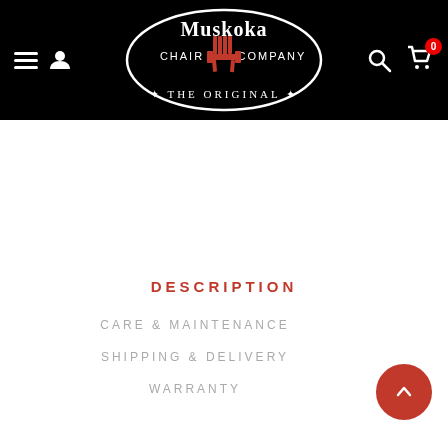[Figure (logo): Muskoka Chair Company - The Original logo: black oval with white outline, red Adirondack chair in center, white serif text]
DESCRIPTION
CARE & MAINTENANCE
SHIPPING & DELIVERY
WARRANTY